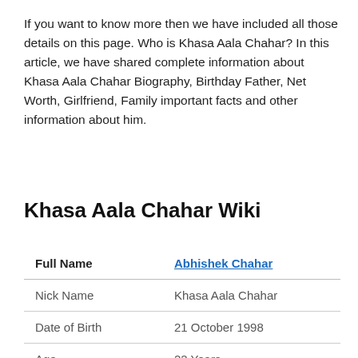If you want to know more then we have included all those details on this page. Who is Khasa Aala Chahar? In this article, we have shared complete information about Khasa Aala Chahar Biography, Birthday Father, Net Worth, Girlfriend, Family important facts and other information about him.
Khasa Aala Chahar Wiki
| Full Name | Abhishek Chahar |
| --- | --- |
| Nick Name | Khasa Aala Chahar |
| Date of Birth | 21 October 1998 |
| Age | 22 Years |
| Place of Birth | Khasa Mahajanam, Haryana, India |
| Nationality | Indian |